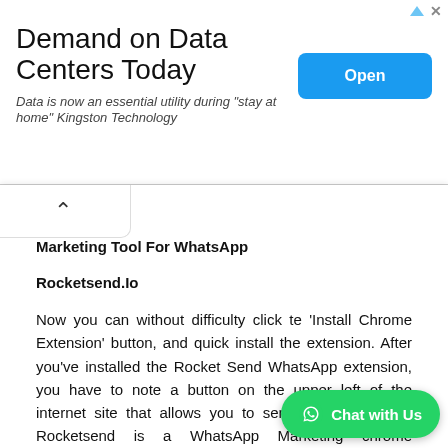[Figure (screenshot): Advertisement banner for Kingston Technology about data center demand. Shows headline 'Demand on Data Centers Today', subtext 'Data is now an essential utility during "stay at home" Kingston Technology', and a blue 'Open' button.]
closely!
Marketing Tool For WhatsApp
Rocketsend.Io
Now you can without difficulty click te 'Install Chrome Extension' button, and quick install the extension. After you've installed the Rocket Send WhatsApp extension, you have to note a button on the upper left of the internet site that allows you to send bulk messages. Rocketsend is a WhatsApp Marketing chrome extension, an powerful manner to interact together with your customers. You can send updates and other